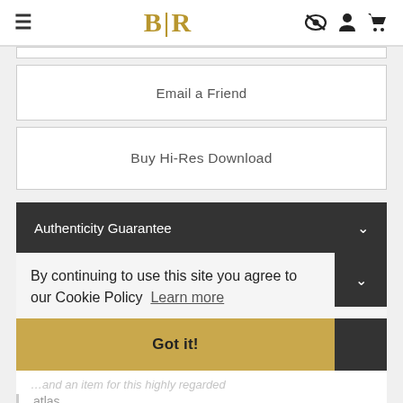BLR
Email a Friend
Buy Hi-Res Download
Authenticity Guarantee
By continuing to use this site you agree to our Cookie Policy  Learn more
Got it!
atlas.